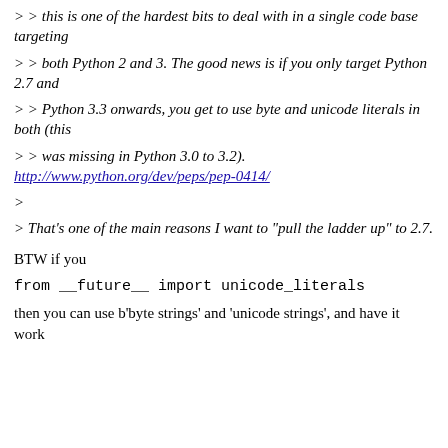>> this is one of the hardest bits to deal with in a single code base targeting
>> both Python 2 and 3. The good news is if you only target Python 2.7 and
>> Python 3.3 onwards, you get to use byte and unicode literals in both (this
>> was missing in Python 3.0 to 3.2). http://www.python.org/dev/peps/pep-0414/
>
> That's one of the main reasons I want to "pull the ladder up" to 2.7.
BTW if you
from __future__ import unicode_literals
then you can use b'byte strings' and 'unicode strings', and have it work